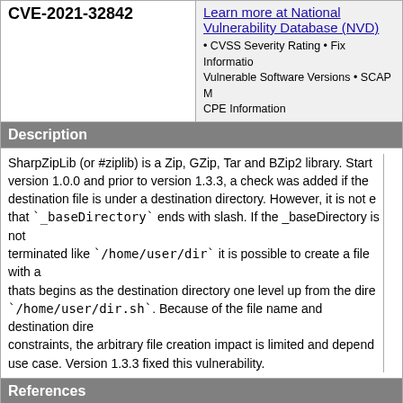CVE-2021-32842
Learn more at National Vulnerability Database (NVD) • CVSS Severity Rating • Fix Information • Vulnerable Software Versions • SCAP Mappings • CPE Information
Description
SharpZipLib (or #ziplib) is a Zip, GZip, Tar and BZip2 library. Starting from version 1.0.0 and prior to version 1.3.3, a check was added if the destination file is under a destination directory. However, it is not enforced that `_baseDirectory` ends with slash. If the _baseDirectory is not slash terminated like `/home/user/dir` it is possible to create a file with a name thats begins as the destination directory one level up from the directory, `/home/user/dir.sh`. Because of the file name and destination directory constraints, the arbitrary file creation impact is limited and depends on the use case. Version 1.3.3 fixed this vulnerability.
References
Note: References are provided for the convenience of the reader to help distinguish between vulnerabilities. The list is not intended to be complete.
CONFIRM:https://securitylab.github.com/advisories/GHSL-2021-... sharpziplib/
URL:https://securitylab.github.com/advisories/GHSL-2021-1... sharpziplib/
MISC:https://github.com/icsharpcode/SharpZipLib/releases...
URL:https://github.com/icsharpcode/SharpZipLib/releases...